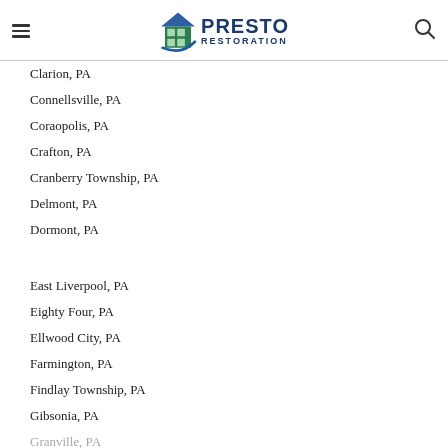Presto Restoration
Clarion, PA
Connellsville, PA
Coraopolis, PA
Crafton, PA
Cranberry Township, PA
Delmont, PA
Dormont, PA
East Liverpool, PA
Eighty Four, PA
Ellwood City, PA
Farmington, PA
Findlay Township, PA
Gibsonia, PA
Granville, PA